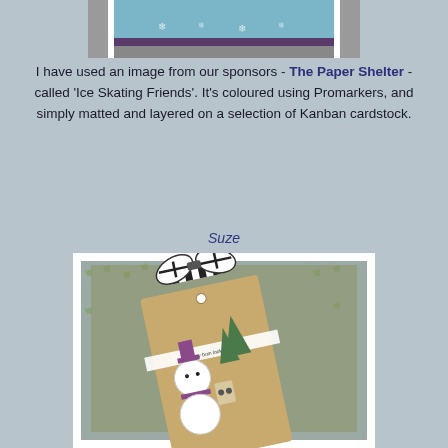[Figure (photo): Partial view of a handmade greeting card at the top of the page, showing a decorative border with purple/teal colors]
I have used an image from our sponsors - The Paper Shelter - called 'Ice Skating Friends'. It's coloured using Promarkers, and simply matted and layered on a selection of Kanban cardstock.
Suze
[Figure (photo): Handmade greeting card featuring a snowman with a purple hat and scarf on a kraft paper tag with a black and white striped bow, layered on grey patterned paper with yellow leaf/vine design]